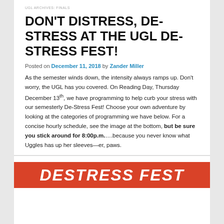UGL ARCHIVES: FINALS
DON'T DISTRESS, DE-STRESS AT THE UGL DE-STRESS FEST!
Posted on December 11, 2018 by Zander Miller
As the semester winds down, the intensity always ramps up. Don't worry, the UGL has you covered. On Reading Day, Thursday December 13th, we have programming to help curb your stress with our semesterly De-Stress Fest! Choose your own adventure by looking at the categories of programming we have below. For a concise hourly schedule, see the image at the bottom, but be sure you stick around for 8:00p.m.….because you never know what Uggles has up her sleeves—er, paws.
[Figure (other): Red banner with white bold italic text reading DESTRESS FEST]